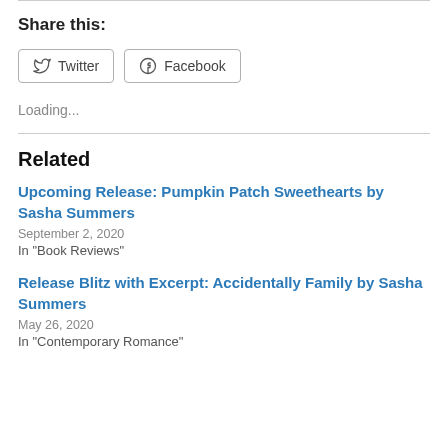Share this:
Twitter  Facebook
Loading...
Related
Upcoming Release: Pumpkin Patch Sweethearts by Sasha Summers
September 2, 2020
In "Book Reviews"
Release Blitz with Excerpt: Accidentally Family by Sasha Summers
May 26, 2020
In "Contemporary Romance"